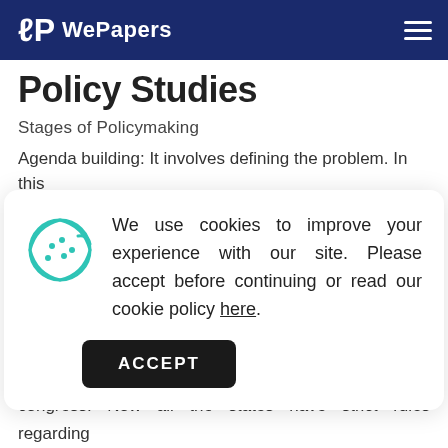WePapers
Policy Studies
Stages of Policymaking
Agenda building: It involves defining the problem. In this step an example is to define a certain level of risks of
[Figure (infographic): Cookie consent popup with cookie icon. Text: We use cookies to improve your experience with our site. Please accept before continuing or read our cookie policy here. ACCEPT button.]
and aims to eliminate it. In the example already stated, APHA formulated the strict policy of always wearing of seat belts while driving and got it approved from the congress. Now all the states have strict rules regarding